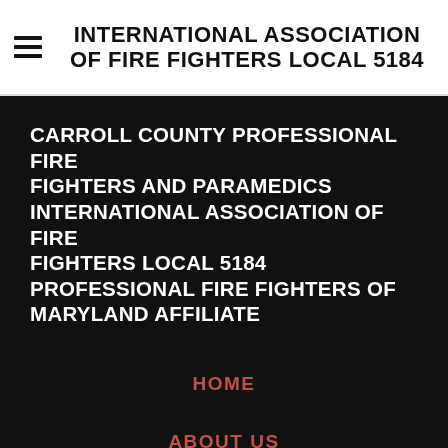INTERNATIONAL ASSOCIATION OF FIRE FIGHTERS LOCAL 5184
CARROLL COUNTY PROFESSIONAL FIRE FIGHTERS AND PARAMEDICS INTERNATIONAL ASSOCIATION OF FIRE FIGHTERS LOCAL 5184 PROFESSIONAL FIRE FIGHTERS OF MARYLAND AFFILIATE
HOME
ABOUT US
ADVOCACY